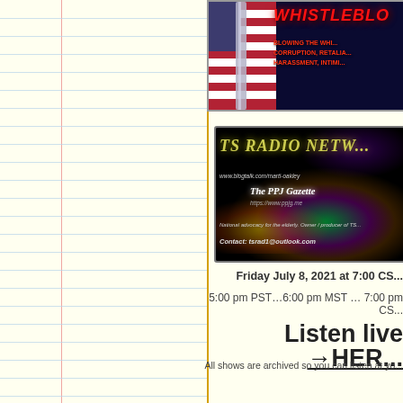[Figure (illustration): Whistleblower banner with American flags and bold red italic text reading 'WHISTLEBLO...' with subtext about corruption, retaliation, harassment, intimidation]
[Figure (illustration): TS Radio Network promotional banner with colorful light streaks on black background, showing The PPJ Gazette, website URLs, advocacy text and contact email tsrad1@outlook.com]
Friday July 8, 2021 at 7:00 CS...
5:00 pm PST…6:00 pm MST … 7:00 pm CS...
Listen live →HERE
All shows are archived so you can listen at yo...